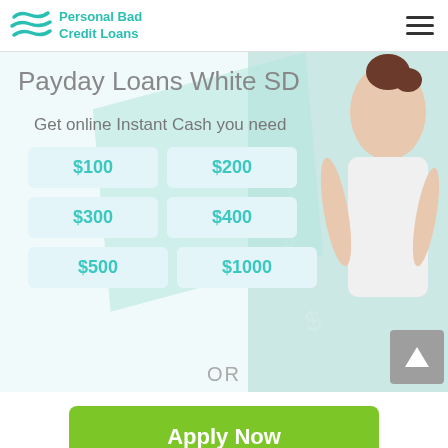Personal Bad Credit Loans
Payday Loans White SD
Get online Instant Cash you need
$100
$200
$300
$400
$500
$1000
OR
Apply Now
Applying does NOT affect your credit score!
No credit check to apply.